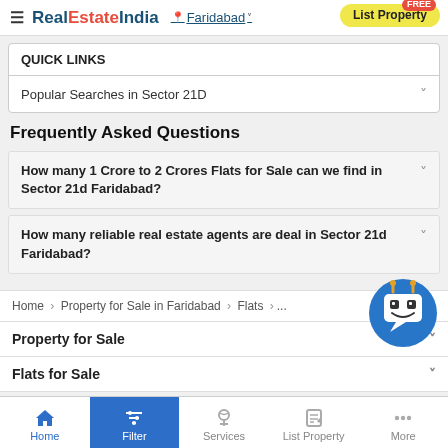RealEstateIndia | Faridabad | List Property
QUICK LINKS
Popular Searches in Sector 21D
Frequently Asked Questions
How many 1 Crore to 2 Crores Flats for Sale can we find in Sector 21d Faridabad?
How many reliable real estate agents are deal in Sector 21d Faridabad?
Home > Property for Sale in Faridabad > Flats >...
Property for Sale
Flats for Sale
Home | Filter | Services | List Property | More